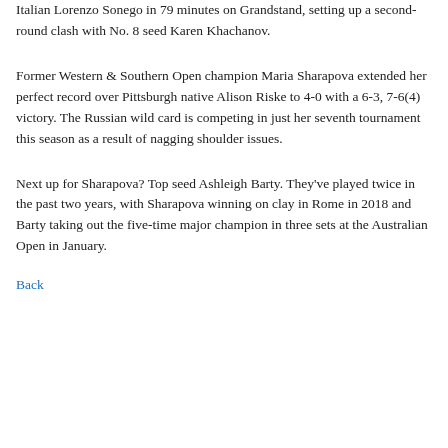Italian Lorenzo Sonego in 79 minutes on Grandstand, setting up a second-round clash with No. 8 seed Karen Khachanov.
Former Western & Southern Open champion Maria Sharapova extended her perfect record over Pittsburgh native Alison Riske to 4-0 with a 6-3, 7-6(4) victory. The Russian wild card is competing in just her seventh tournament this season as a result of nagging shoulder issues.
Next up for Sharapova? Top seed Ashleigh Barty. They've played twice in the past two years, with Sharapova winning on clay in Rome in 2018 and Barty taking out the five-time major champion in three sets at the Australian Open in January.
Back